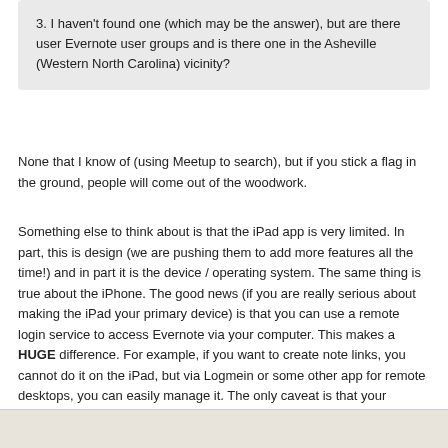3. I haven't found one (which may be the answer), but are there user Evernote user groups and is there one in the Asheville (Western North Carolina) vicinity?
None that I know of (using Meetup to search), but if you stick a flag in the ground, people will come out of the woodwork.
Something else to think about is that the iPad app is very limited. In part, this is design (we are pushing them to add more features all the time!) and in part it is the device / operating system. The same thing is true about the iPhone. The good news (if you are really serious about making the iPad your primary device) is that you can use a remote login service to access Evernote via your computer. This makes a HUGE difference. For example, if you want to create note links, you cannot do it on the iPad, but via Logmein or some other app for remote desktops, you can easily manage it. The only caveat is that your computer has to be turned on, so that is kind of a bummer if you are worried about wasted resources.